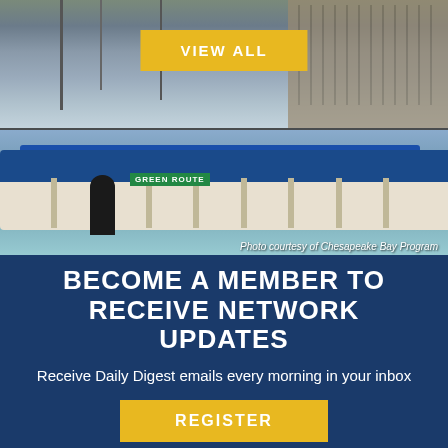[Figure (photo): Harbor/marina scene with sailboat masts and buildings in background, water taxi/ferry with blue canopy labeled GREEN ROUTE in foreground on water]
VIEW ALL
Photo courtesy of Chesapeake Bay Program
BECOME A MEMBER TO RECEIVE NETWORK UPDATES
Receive Daily Digest emails every morning in your inbox
REGISTER